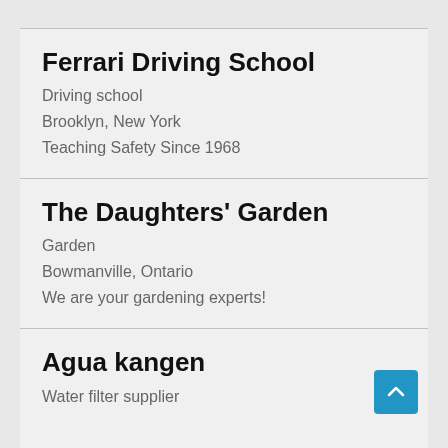Ferrari Driving School
Driving school
Brooklyn, New York
Teaching Safety Since 1968
The Daughters' Garden
Garden
Bowmanville, Ontario
We are your gardening experts!
Agua kangen
Water filter supplier